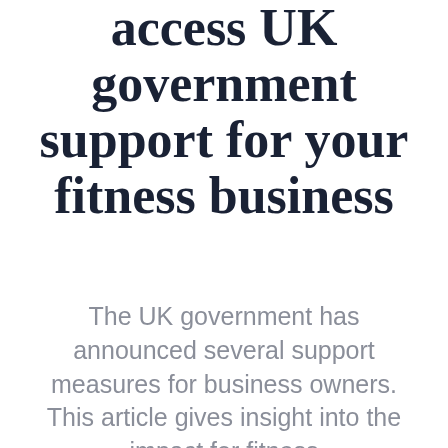COVID-19: how to access UK government support for your fitness business
The UK government has announced several support measures for business owners. This article gives insight into the impact for fitness